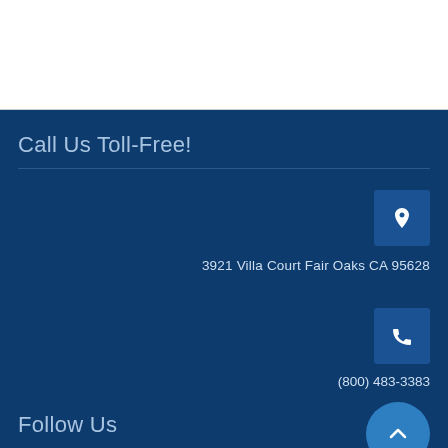Call Us Toll-Free!
3921 Villa Court Fair Oaks CA 95628
(800) 483-3383
Follow Us